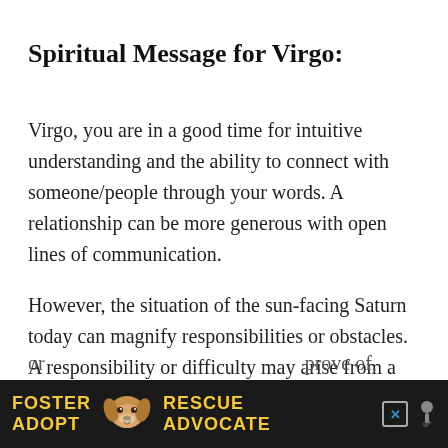Spiritual Message for Virgo:
Virgo, you are in a good time for intuitive understanding and the ability to connect with someone/people through your words. A relationship can be more generous with open lines of communication.
However, the situation of the sun-facing Saturn today can magnify responsibilities or obstacles. A responsibility or difficulty may arise from a romantic relationship, a relationship with a child or…
[Figure (infographic): Advertisement banner: dark background with yellow bold text 'FOSTER ADOPT' on the left, a cartoon/photo dog in the center, and 'RESCUE ADVOCATE' on the right, with a close button and weather app icons partially visible.]